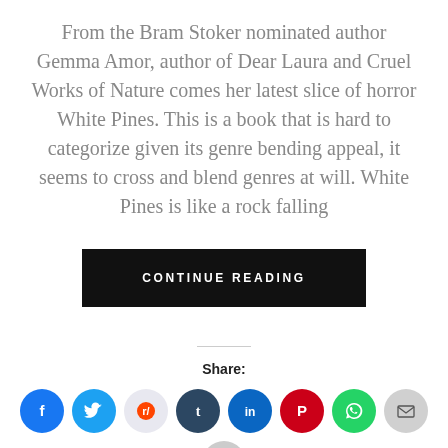From the Bram Stoker nominated author Gemma Amor, author of Dear Laura and Cruel Works of Nature comes her latest slice of horror White Pines. This is a book that is hard to categorize given its genre bending appeal, it seems to cross and blend genres at will. White Pines is like a rock falling
[Figure (other): CONTINUE READING button — black rectangle with white uppercase spaced text]
Share:
[Figure (other): Row of social share icon circles: Facebook, Twitter, Reddit, Tumblr, LinkedIn, Pinterest, WhatsApp, Email, and a partial print icon below]